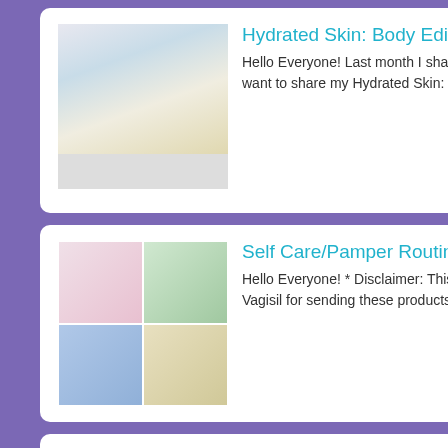[Figure (photo): Thumbnail image of skin care/body lotion products]
Hydrated Skin: Body Edition
Hello Everyone! Last month I shared my post for my Hydrated Skin: Face Edition. Today I want to share my Hydrated Skin: Body Edition. Thes...
[Figure (photo): Grid of four thumbnail images showing pamper/period care products]
Self Care/Pamper Routine: Period Edition
Hello Everyone! * Disclaimer: This posts contains PR Samples from Vagisil. Thank you Vagisil for sending these products for review. Al...
Search This Blog
Search
Followers
Followers (144) Next
Did you g
January 2
New Year
My Life in
Projects w
Maybellin
Maybellin
Other Po
My 31st B
Beauty Fa
Fab Fit Fu